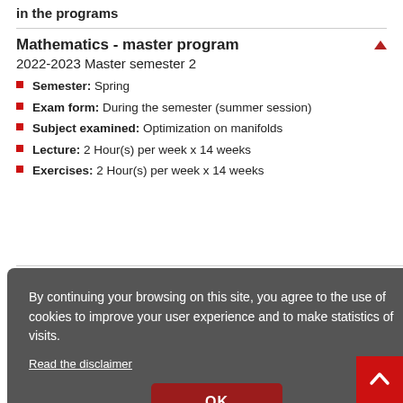in the programs
Mathematics - master program
2022-2023 Master semester 2
Semester: Spring
Exam form: During the semester (summer session)
Subject examined: Optimization on manifolds
Lecture: 2 Hour(s) per week x 14 weeks
Exercises: 2 Hour(s) per week x 14 weeks
By continuing your browsing on this site, you agree to the use of cookies to improve your user experience and to make statistics of visits.
Read the disclaimer
OK